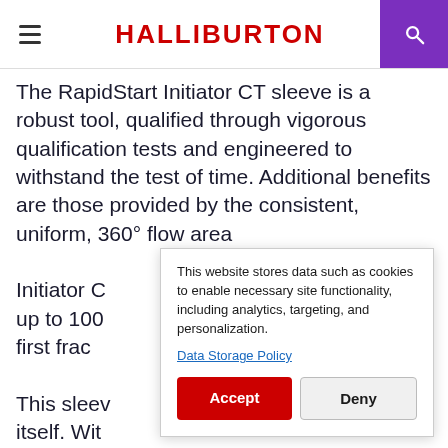HALLIBURTON
The RapidStart Initiator CT sleeve is a robust tool, qualified through vigorous qualification tests and engineered to withstand the test of time. Additional benefits are those provided by the consistent, uniform, 360° flow area Initiator C up to 100 first frac This sleev itself. Wit numerous examples of this tool functioning
This website stores data such as cookies to enable necessary site functionality, including analytics, targeting, and personalization.

Data Storage Policy
Accept  Deny